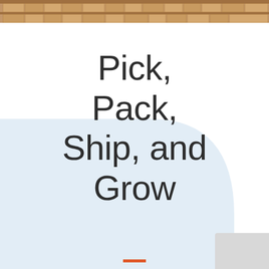[Figure (photo): Warehouse shelves with cardboard boxes stacked in rows, viewed from a low angle. The image appears as a header banner at the top of the page.]
Pick, Pack, Ship, and Grow
Our team can perform an audit on your current warehousing or future warehousing